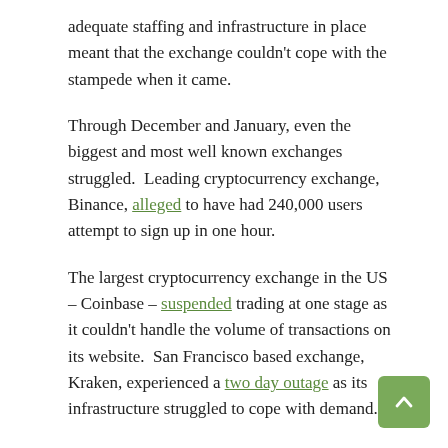adequate staffing and infrastructure in place meant that the exchange couldn't cope with the stampede when it came.
Through December and January, even the biggest and most well known exchanges struggled. Leading cryptocurrency exchange, Binance, alleged to have had 240,000 users attempt to sign up in one hour.
The largest cryptocurrency exchange in the US – Coinbase – suspended trading at one stage as it couldn't handle the volume of transactions on its website. San Francisco based exchange, Kraken, experienced a two day outage as its infrastructure struggled to cope with demand.
Going into 2018, many exchanges refused to take on any new users whilst others warned potential users of multi-week processing backlogs.
A bear market followed over the next 12 months with